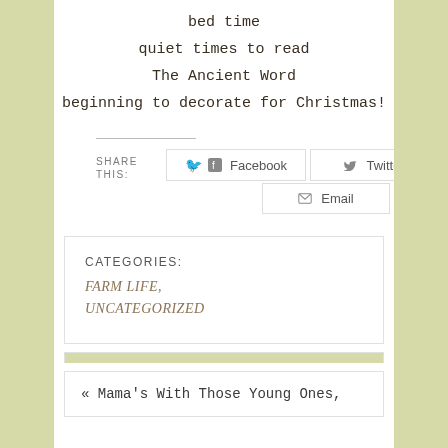bed time
quiet times to read
The Ancient Word
beginning to decorate for Christmas!
SHARE THIS:
Facebook  Twitter  Email
CATEGORIES:
FARM LIFE,
UNCATEGORIZED
« Mama's With Those Young Ones,